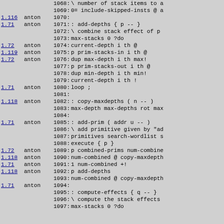Source code listing with version annotations, lines 1068-1097
| version | author | line | code |
| --- | --- | --- | --- |
|  |  | 1068: | \ number of stack items to a |
|  |  | 1069: | 0= include-skipped-insts @ a |
| 1.116 | anton | 1070: |  |
| 1.71 | anton | 1071: | : add-depths { p -- } |
|  |  | 1072: | \ combine stack effect of p |
|  |  | 1073: | max-stacks 0 ?do |
| 1.72 | anton | 1074: | current-depth i th @ |
| 1.119 | anton | 1075: | p prim-stacks-in  i th @ |
| 1.72 | anton | 1076: | dup max-depth i th max! |
|  |  | 1077: | p prim-stacks-out i th @ |
|  |  | 1078: | dup min-depth i th min! |
|  |  | 1079: | current-depth i th ! |
| 1.71 | anton | 1080: | loop ; |
|  |  | 1081: |  |
| 1.118 | anton | 1082: | : copy-maxdepths ( n -- ) |
|  |  | 1083: | max-depth max-depths rot max |
|  |  | 1084: |  |
| 1.71 | anton | 1085: | : add-prim ( addr u -- ) |
|  |  | 1086: | \ add primitive given by "ad |
|  |  | 1087: | primitives search-wordlist s |
|  |  | 1088: | execute { p } |
| 1.72 | anton | 1089: | p combined-prims num-combine |
| 1.118 | anton | 1090: | num-combined @ copy-maxdepth |
| 1.71 | anton | 1091: | 1 num-combined +! |
| 1.118 | anton | 1092: | p add-depths |
|  |  | 1093: | num-combined @ copy-maxdepth |
| 1.71 | anton | 1094: |  |
|  |  | 1095: | : compute-effects { q -- } |
|  |  | 1096: | \ compute the stack effects |
|  |  | 1097: | max-stacks 0 ?do |